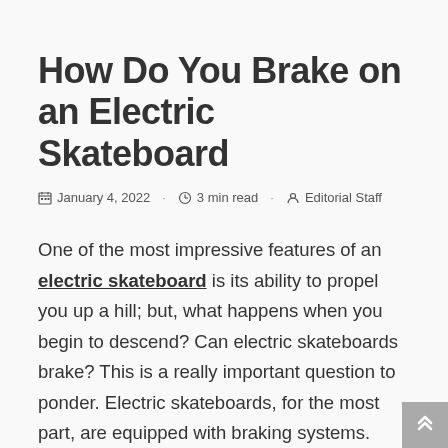How Do You Brake on an Electric Skateboard
January 4, 2022  3 min read  Editorial Staff
One of the most impressive features of an electric skateboard is its ability to propel you up a hill; but, what happens when you begin to descend? Can electric skateboards brake? This is a really important question to ponder. Electric skateboards, for the most part, are equipped with braking systems. However, you should be aware that there are several types of braking systems, some of which are